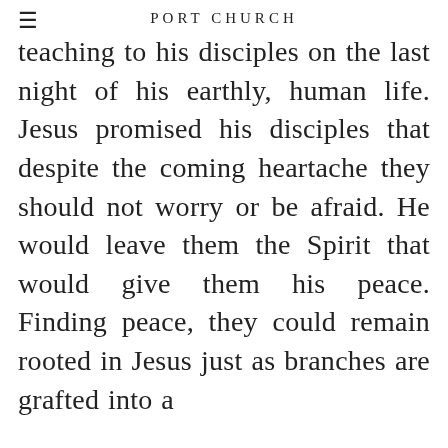PORT CHURCH
teaching to his disciples on the last night of his earthly, human life. Jesus promised his disciples that despite the coming heartache they should not worry or be afraid. He would leave them the Spirit that would give them his peace. Finding peace, they could remain rooted in Jesus just as branches are grafted into a